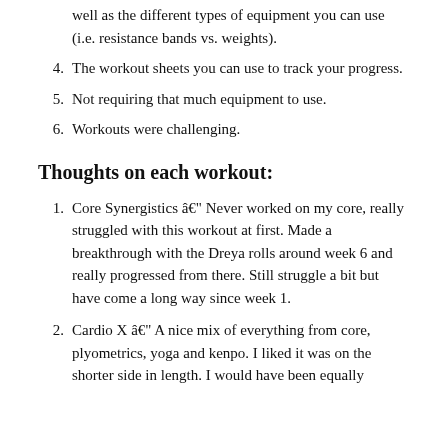well as the different types of equipment you can use (i.e. resistance bands vs. weights).
4. The workout sheets you can use to track your progress.
5. Not requiring that much equipment to use.
6. Workouts were challenging.
Thoughts on each workout:
1. Core Synergistics â€" Never worked on my core, really struggled with this workout at first. Made a breakthrough with the Dreya rolls around week 6 and really progressed from there. Still struggle a bit but have come a long way since week 1.
2. Cardio X â€" A nice mix of everything from core, plyometrics, yoga and kenpo. I liked it was on the shorter side in length. I would have been equally